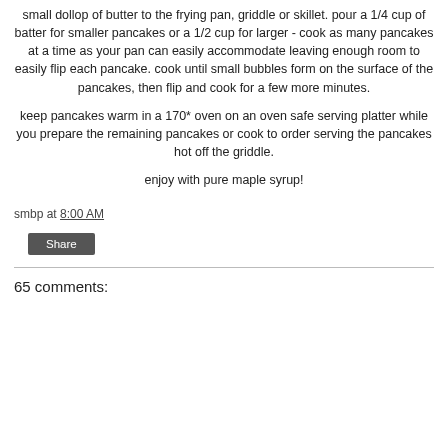small dollop of butter to the frying pan, griddle or skillet. pour a 1/4 cup of batter for smaller pancakes or a 1/2 cup for larger - cook as many pancakes at a time as your pan can easily accommodate leaving enough room to easily flip each pancake. cook until small bubbles form on the surface of the pancakes, then flip and cook for a few more minutes.
keep pancakes warm in a 170* oven on an oven safe serving platter while you prepare the remaining pancakes or cook to order serving the pancakes hot off the griddle.
enjoy with pure maple syrup!
smbp at 8:00 AM
Share
65 comments: